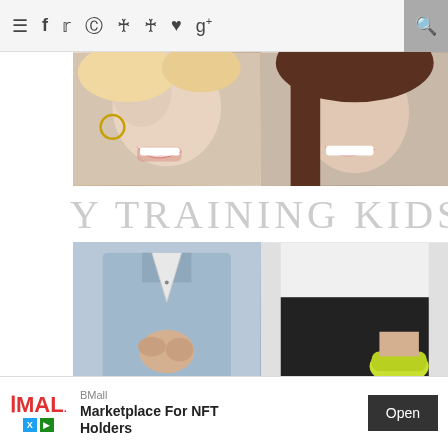≡ f 🐦 📷 ℗ ℗ ♥ g+ 🔍
[Figure (photo): Two women smiling and laughing, cropped to show faces only, top portion of a blog page banner]
Y TRAINING KIDS F
[Figure (photo): Two women from chest down, one in blue denim vest with hands clasped, one in white top and black outfit holding a yellow-green object]
HOW TO POTTY TRAIN FAST AND EASY + ...
[Figure (other): BMall advertisement banner — Marketplace For NFT Holders with Open button]